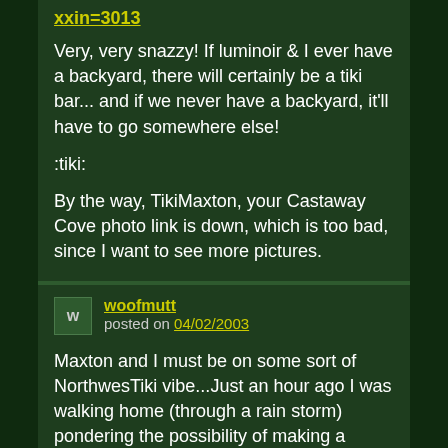xxin=3013
Very, very snazzy! If luminoir & I ever have a backyard, there will certainly be a tiki bar... and if we never have a backyard, it'll have to go somewhere else!
:tiki:
By the way, TikiMaxton, your Castaway Cove photo link is down, which is too bad, since I want to see more pictures.
woofmutt posted on 04/02/2003
Maxton and I must be on some sort of NorthwesTiki vibe...Just an hour ago I was walking home (through a rain storm) pondering the possibility of making a Seattle tiki bar out of